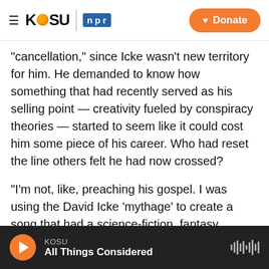KOSU | npr — Donate
"cancellation," since Icke wasn't new territory for him. He demanded to know how something that had recently served as his selling point — creativity fueled by conspiracy theories — started to seem like it could cost him some piece of his career. Who had reset the line others felt he had now crossed?
"I'm not, like, preaching his gospel. I was using the David Icke 'mythage' to create a song that had a science-fiction, fantasy motive," Pike said a few days later, his momentary whimper now approaching a growl. "I don't understand how that gets to be not published. If you can't say an author's
KOSU — All Things Considered